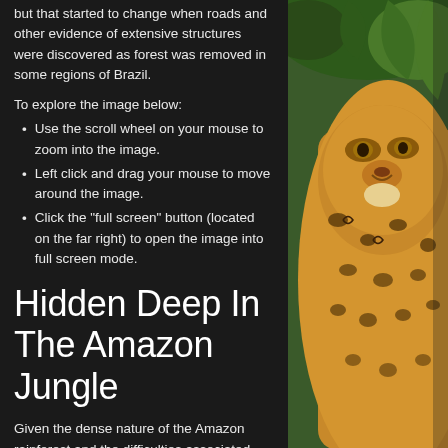but that started to change when roads and other evidence of extensive structures were discovered as forest was removed in some regions of Brazil.
To explore the image below:
Use the scroll wheel on your mouse to zoom into the image.
Left click and drag your mouse to move around the image.
Click the "full screen" button (located on the far right) to open the image into full screen mode.
Hidden Deep In The Amazon Jungle
Given the dense nature of the Amazon rainforest and the difficulties associated with carrying out archeological exploration in the jungle, who knows what other ruins, sites, and even cities might be hidden beneath the forest?
[Figure (photo): Close-up photograph of a jaguar with spots, looking to the side, in a jungle setting with green foliage in background.]